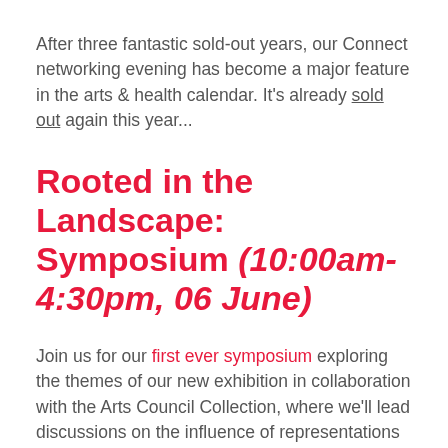After three fantastic sold-out years, our Connect networking evening has become a major feature in the arts & health calendar. It's already sold out again this year...
Rooted in the Landscape: Symposium (10:00am-4:30pm, 06 June)
Join us for our first ever symposium exploring the themes of our new exhibition in collaboration with the Arts Council Collection, where we'll lead discussions on the influence of representations of landscape on wellbeing. See the full list of speakers here...